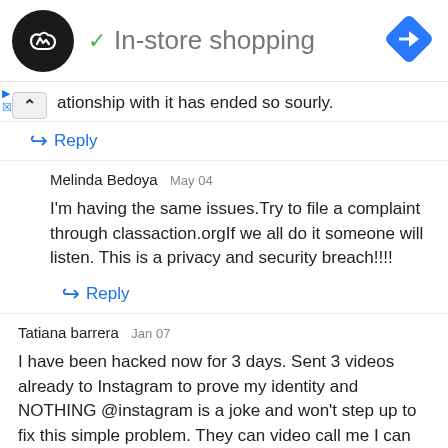[Figure (screenshot): Ad banner with circular logo, checkmark and 'In-store shopping' text, and a blue navigation diamond icon]
ationship with it has ended so sourly.
Reply
Melinda Bedoya  May 04
I'm having the same issues.Try to file a complaint through classaction.orgIf we all do it someone will listen. This is a privacy and security breach!!!!
Reply
Tatiana barrera  Jan 07
I have been hacked now for 3 days. Sent 3 videos already to Instagram to prove my identity and NOTHING @instagram is a joke and won't step up to fix this simple problem. They can video call me I can